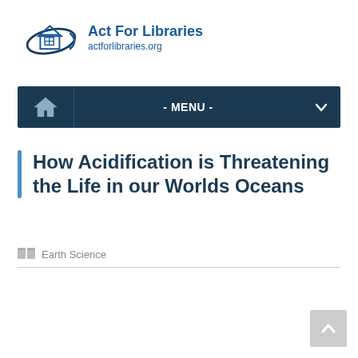[Figure (logo): Act For Libraries logo with house icon and orbital swoosh graphic, followed by text 'Act For Libraries' and 'actforlibraries.org']
- MENU -
How Acidification is Threatening the Life in our Worlds Oceans
Earth Science